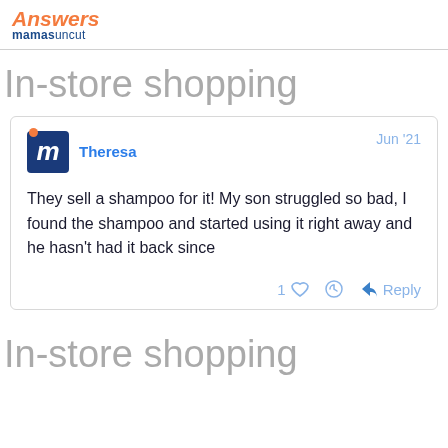Answers mamasuncut
In-store shopping
Theresa  Jun '21
They sell a shampoo for it! My son struggled so bad, I found the shampoo and started using it right away and he hasn't had it back since
1 ♡ reply
In-store shopping